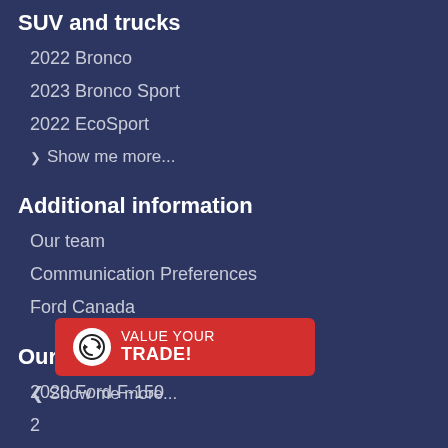SUV and trucks
2022 Bronco
2023 Bronco Sport
2022 EcoSport
Show me more...
Additional information
Our team
Communication Preferences
Ford Canada
Our top 10 used vehicles
2020 Ford F-150
2...
2...
Show me more...
[Figure (other): Red button overlay with recycle/trade icon and text VALUE YOUR TRADE!]